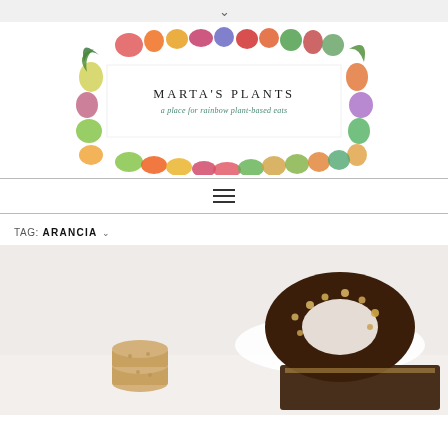▾
[Figure (logo): Marta's Plants blog logo: colorful illustrated fruits and vegetables arranged in a rectangular border surrounding a white box with the text 'MARTA'S PLANTS' and subtitle 'a place for rainbow plant-based eats']
MARTA'S PLANTS
a place for rainbow plant-based eats
TAG: ARANCIA
[Figure (photo): Food photography showing baked goods: a stack of round sandwich cookies on the left, and a chocolate bundt cake topped with chopped nuts on a white plate on the right, with a brownie slice in the foreground]